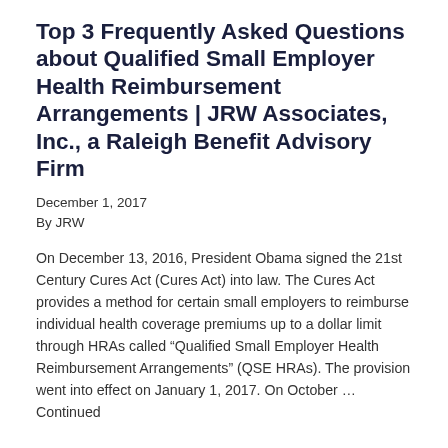Top 3 Frequently Asked Questions about Qualified Small Employer Health Reimbursement Arrangements | JRW Associates, Inc., a Raleigh Benefit Advisory Firm
December 1, 2017
By JRW
On December 13, 2016, President Obama signed the 21st Century Cures Act (Cures Act) into law. The Cures Act provides a method for certain small employers to reimburse individual health coverage premiums up to a dollar limit through HRAs called “Qualified Small Employer Health Reimbursement Arrangements” (QSE HRAs). The provision went into effect on January 1, 2017. On October ... Continued